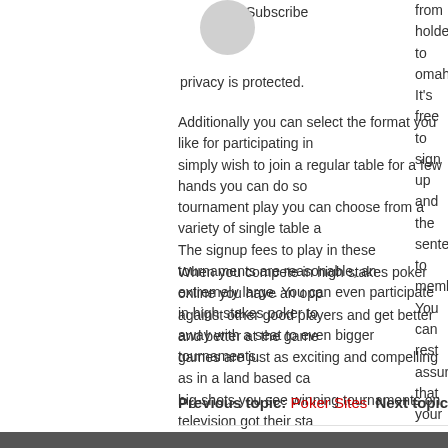Subscribe
from holdem to omaha/8. It's free to sign up and the sented to members. You can rest assured that your privacy is protected.
Additionally you can select the format you like for participating in simply wish to join a regular table for a few hands you can do so tournament play you can choose from a variety of single table a The signup fees to play in these tournaments are reasonable, an extremely large. You can even participate in high stakes poker t away with a seat to even bigger tournaments.
When you compete in high stakes poker online you have an opp against other good players and get better and better at the game games are just as exciting and compelling as in a land based ca big-shots you see winning tournaments on television got their st sign up and try it today?
Previous topic: Poker Sites    Next topic
Leave a Reply
You must be logged in to post a comment.